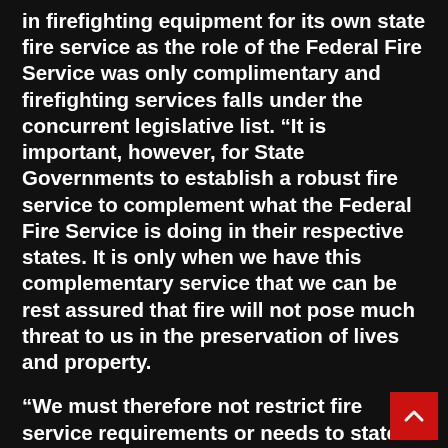in firefighting equipment for its own state fire service as the role of the Federal Fire Service was only complimentary and firefighting services falls under the concurrent legislative list. “It is important, however, for State Governments to establish a robust fire service to complement what the Federal Fire Service is doing in their respective states. It is only when we have this complementary service that we can be rest assured that fire will not pose much threat to us in the preservation of lives and property.
“We must therefore not restrict fire service requirements or needs to state capitals or urban centres alone. Provisions should be made for Local Governments and rural areas, which have been victims of fire incidents and other emergencies as well. Farms and valuable economic trees have also been destroyed by fires in rural areas.
“I will urge the State Command to reciprocate the Federal Government’s gesture to optimize and effectively use these assets to improve fire cover, enhance emergency response